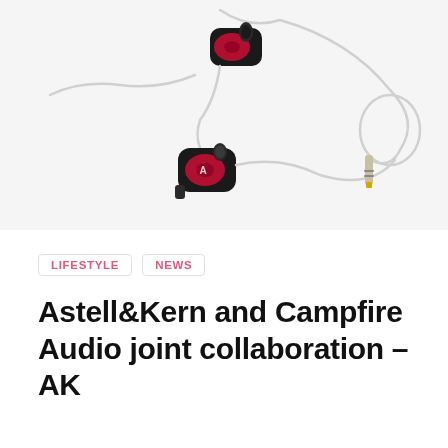[Figure (photo): Two red and black in-ear monitors (earphones) with silver cables and a 3.5mm gold jack, laid out on a white background. The earbuds appear to be the Astell&Kern and Campfire Audio AK collaboration model.]
LIFESTYLE
NEWS
Astell&Kern and Campfire Audio joint collaboration – AK